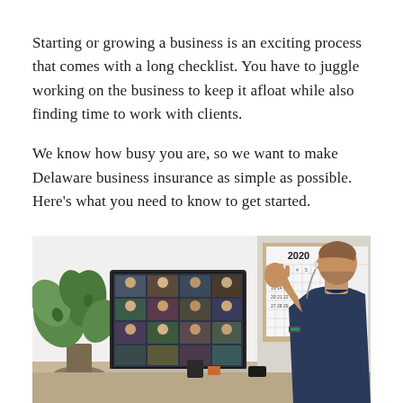Starting or growing a business is an exciting process that comes with a long checklist. You have to juggle working on the business to keep it afloat while also finding time to work with clients.
We know how busy you are, so we want to make Delaware business insurance as simple as possible. Here's what you need to know to get started.
[Figure (photo): A man with earbuds sitting at a desk in a home office, gesturing toward a large monitor showing a video conference call with multiple participants. A monstera plant is visible on the left, and a 2020 wall calendar is on the right.]